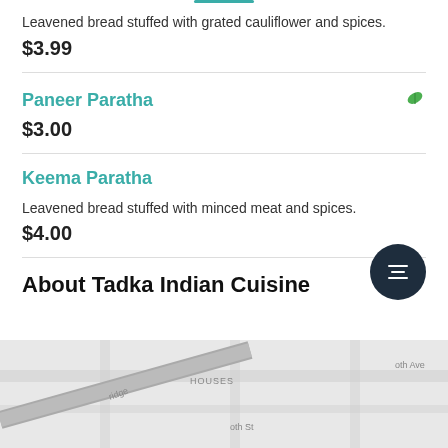Leavened bread stuffed with grated cauliflower and spices.
$3.99
Paneer Paratha
$3.00
Keema Paratha
Leavened bread stuffed with minced meat and spices.
$4.00
About Tadka Indian Cuisine
[Figure (map): Street map showing location of Tadka Indian Cuisine, with street labels including 'ridge', 'HOUSES', 'th St', 'oth Ave']